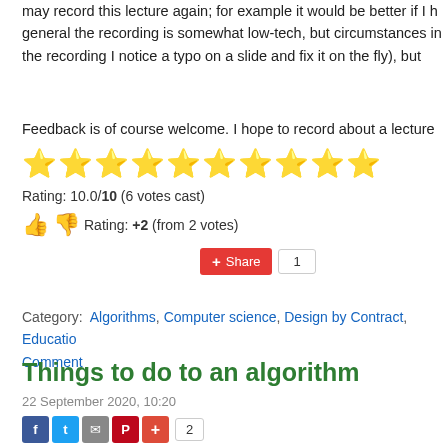may record this lecture again; for example it would be better if I h general the recording is somewhat low-tech, but circumstances in the recording I notice a typo on a slide and fix it on the fly), but
Feedback is of course welcome. I hope to record about a lecture
[Figure (other): 10 gold star rating icons]
Rating: 10.0/10 (6 votes cast)
Rating: +2 (from 2 votes)
[Figure (other): Share button (red) and count badge showing 1]
Category: Algorithms, Computer science, Design by Contract, Education Comment
Things to do to an algorithm
22 September 2020, 10:20
[Figure (other): Social sharing buttons: Facebook, Twitter, email, Pinterest, plus button, and count badge showing 2]
What can you do to or with an algorithm? In other words, wha algorithm"?